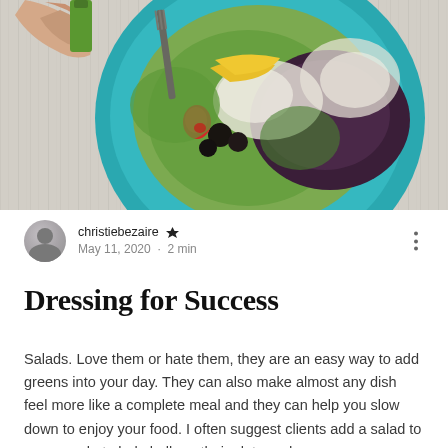[Figure (photo): Overhead view of a colorful salad on a teal/blue plate on a wooden table. The salad contains green lettuce, purple cabbage, feta cheese, black olives, strawberries, yellow pepper, and other vegetables. A hand is pouring olive oil from a bottle, and a fork is visible in the salad.]
christiebezaire 👑
May 11, 2020  ·  2 min
Dressing for Success
Salads. Love them or hate them, they are an easy way to add greens into your day. They can also make almost any dish feel more like a complete meal and they can help you slow down to enjoy your food. I often suggest clients add a salad to a casserole to help bulk up their plate and